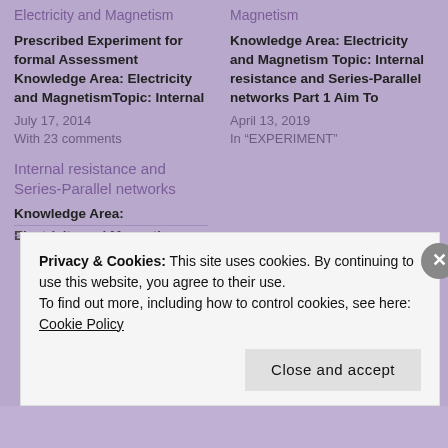Electricity and Magnetism
Prescribed Experiment for formal Assessment Knowledge Area: Electricity and MagnetismTopic: Internal
July 17, 2014
With 23 comments
Internal resistance and Series-Parallel networks
Knowledge Area:
Electricity and Magnetism
Magnetism
Knowledge Area: Electricity and Magnetism Topic: Internal resistance and Series-Parallel networks Part 1 Aim To
April 13, 2019
In "EXPERIMENT"
Privacy & Cookies: This site uses cookies. By continuing to use this website, you agree to their use.
To find out more, including how to control cookies, see here: Cookie Policy
Close and accept